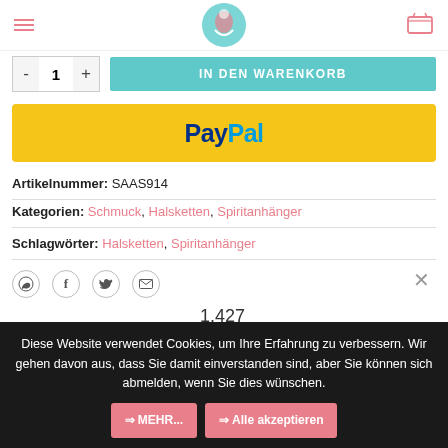Navigation header with hamburger menu, logo, and cart icon
- 1 + IN DEN WARENKORB
[Figure (logo): PayPal payment button with yellow background, blue PayPal text]
Artikelnummer: SAAS914
Kategorien: Schmuck, Halsketten, Spiritanhänger
Schlagwörter: Halsketten, Spiritanhänger
1.427
BESCHREIBUNG
Diese Website verwendet Cookies, um Ihre Erfahrung zu verbessern. Wir gehen davon aus, dass Sie damit einverstanden sind, aber Sie können sich abmelden, wenn Sie dies wünschen.